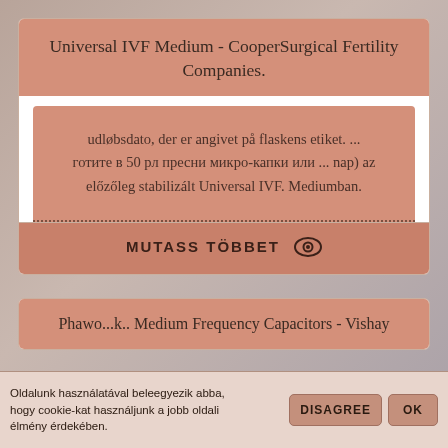Universal IVF Medium - CooperSurgical Fertility Companies.
udløbsdato, der er angivet på flaskens etiket. ... готите в 50 рл пресни микро-капки или ... nap) az előzőleg stabilizált Universal IVF. Mediumban.
MUTASS TÖBBET
Phawo...k.. Medium Frequency Capacitors - Vishay
Oldalunk használatával beleegyezik abba, hogy cookie-kat használjunk a jobb oldali élmény érdekében.